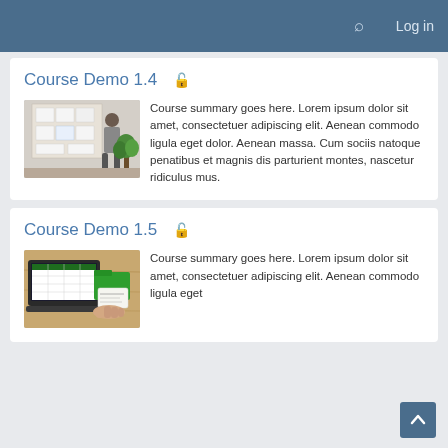🔍 Log in
Course Demo 1.4 🔒
[Figure (photo): Person standing in front of a board with papers/documents pinned to it, with a plant nearby]
Course summary goes here. Lorem ipsum dolor sit amet, consectetuer adipiscing elit. Aenean commodo ligula eget dolor. Aenean massa. Cum sociis natoque penatibus et magnis dis parturient montes, nascetur ridiculus mus.
Course Demo 1.5 🔒
[Figure (photo): Laptop with a green folder and a hand holding a card on a wooden desk]
Course summary goes here. Lorem ipsum dolor sit amet, consectetuer adipiscing elit. Aenean commodo ligula eget